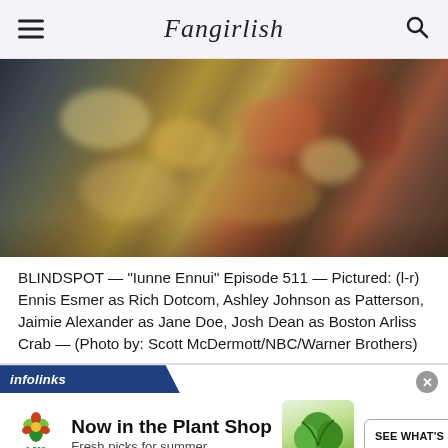Fangirlish
[Figure (photo): A blurry overhead/side shot of people sitting around a table filled with food dishes, drinks, and holiday decorations. The scene is from the Blindspot TV show episode 511.]
BLINDSPOT — “Iunne Ennui” Episode 511 — Pictured: (l-r) Ennis Esmer as Rich Dotcom, Ashley Johnson as Patterson, Jaimie Alexander as Jane Doe, Josh Dean as Boston Arliss Crab — (Photo by: Scott McDermott/NBC/Warner Brothers)
[Figure (screenshot): An infolinks advertisement banner. Contains the 1-800-Flowers.com logo on the left, bold headline text 'Now in the Plant Shop', subline 'Fresh picks for summer', an image of a green plant in a pot, and a 'SEE WHAT'S NEW' button. There is a close (x) button in the upper right corner.]